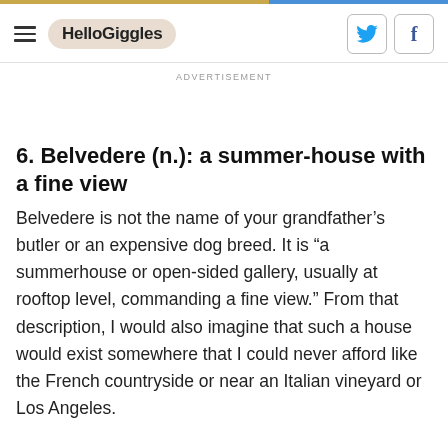HelloGiggles
ADVERTISEMENT
6. Belvedere (n.): a summer-house with a fine view
Belvedere is not the name of your grandfather's butler or an expensive dog breed. It is “a summerhouse or open-sided gallery, usually at rooftop level, commanding a fine view.” From that description, I would also imagine that such a house would exist somewhere that I could never afford like the French countryside or near an Italian vineyard or Los Angeles.